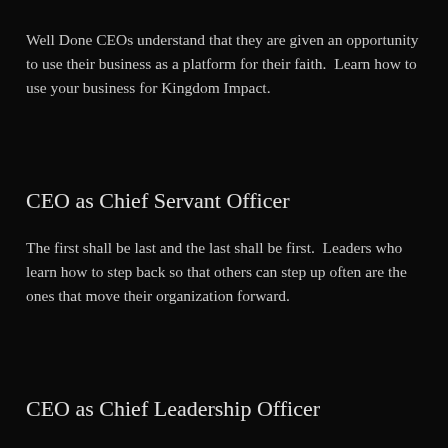Well Done CEOs understand that they are given an opportunity to use their business as a platform for their faith.  Learn how to use your business for Kingdom Impact.
CEO as Chief Servant Officer
The first shall be last and the last shall be first.  Leaders who learn how to step back so that others can step up often are the ones that move their organization forward.
CEO as Chief Leadership Officer
When the leader improves, the organization improves.  CEOs that set an example of improving themselves will lead the way to breakthroughs for both their